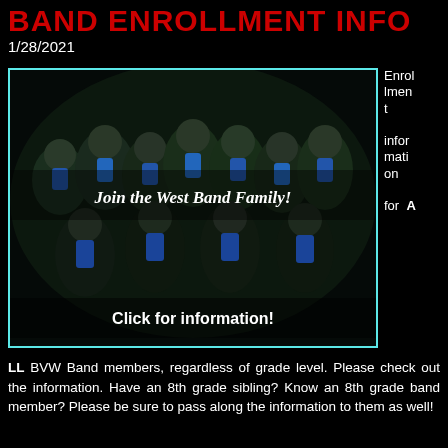BAND ENROLLMENT INFO
1/28/2021
[Figure (photo): Group photo of BVW band members in uniform at night, with text overlays 'Join the West Band Family!' and 'Click for information!' inside a teal-bordered box]
Enrollment information for ALL BVW Band members, regardless of grade level. Please check out the information. Have an 8th grade sibling? Know an 8th grade band member? Please be sure to pass along the information to them as well!